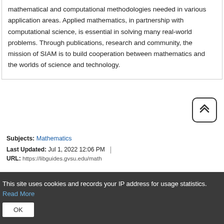mathematical and computational methodologies needed in various application areas. Applied mathematics, in partnership with computational science, is essential in solving many real-world problems. Through publications, research and community, the mission of SIAM is to build cooperation between mathematics and the worlds of science and technology.
Subjects: Mathematics
Last Updated: Jul 1, 2022 12:06 PM | URL: https://libguides.gvsu.edu/math
This site uses cookies and records your IP address for usage statistics. Read More OK